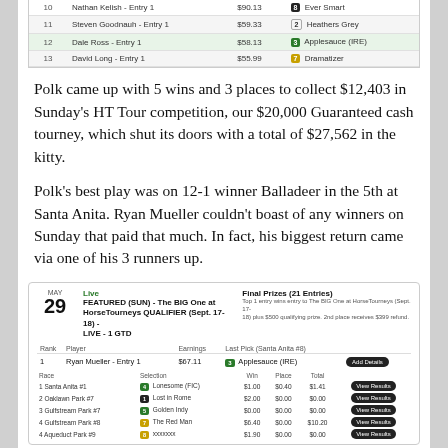| Rank | Player | Earnings | Last Pick |
| --- | --- | --- | --- |
| 10 | Nathan Kelish - Entry 1 | $90.13 | Ever Smart |
| 11 | Steven Goodnauh - Entry 1 | $59.33 | 2 Heathers Grey |
| 12 | Dale Ross - Entry 1 | $58.13 | 3 Applesauce (IRE) |
| 13 | David Long - Entry 1 | $55.99 | 7 Dramatizer |
Polk came up with 5 wins and 3 places to collect $12,403 in Sunday's HT Tour competition, our $20,000 Guaranteed cash tourney, which shut its doors with a total of $27,562 in the kitty.
Polk's best play was on 12-1 winner Balladeer in the 5th at Santa Anita. Ryan Mueller couldn't boast of any winners on Sunday that paid that much. In fact, his biggest return came via one of his 3 runners up.
[Figure (screenshot): Tournament card for FEATURED (SUN) - The BIG One at HorseTourneys QUALIFIER (Sept. 17-18) - LIVE - 1 GTD, May 29. Shows Final Prizes (21 Entries). Rank 1: Ryan Mueller - Entry 1, $67.11, last pick Applesauce (IRE). Sub-rows: 1 Santa Anita #1 Lonesome (FIC) Win $1.00 Place $0.40 Total $1.41; 2 Oaklawn Park #7 Lost in Rome Win $2.00 Place $0.00 Total $0.00; 3 Gulfstream Park #7 Golden Indy Win $0.00 Place $0.00 Total $0.00; 4 Gulfstream Park #8 The Red Man Win $6.40 Place $0.00 Total $10.20; partial row visible.]